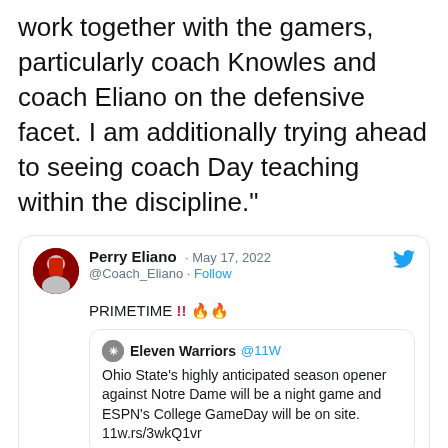work together with the gamers, particularly coach Knowles and coach Eliano on the defensive facet. I am additionally trying ahead to seeing coach Day teaching within the discipline."
[Figure (screenshot): Tweet by Perry Eliano (@Coach_Eliano) dated May 17, 2022 with text 'PRIMETIME !! 🔥🔥' and a quoted tweet from Eleven Warriors (@11W) about Ohio State's season opener against Notre Dame being a night game with ESPN's College GameDay on site, link 11w.rs/3wkQ1vr. Twitter bird icon in top right.]
[Figure (screenshot): Partial tweet card showing Peyton Woodyard (@peypey_wood) with Follow link]